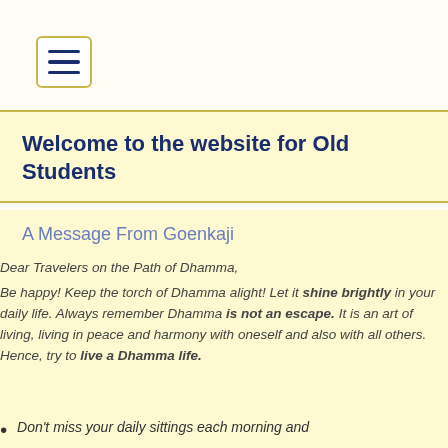[Figure (other): Hamburger menu button with three horizontal lines inside a yellow-bordered square]
Welcome to the website for Old Students
A Message From Goenkaji
Our website uses cookies to improve your user experience and to collect anonymized usage statistics. If you continue browsing, we assume that you consent to our use of cookies. More information can be found in our Privacy Policy. Learn more
Dear Travelers on the Path of Dhamma,

Be happy! Keep the torch of Dhamma alight! Let it shine brightly in your daily life. Always remember Dhamma is not an escape. It is an art of living, living in peace and harmony with oneself and also with all others. Hence, try to live a Dhamma life.
Don't miss your daily sittings each morning and